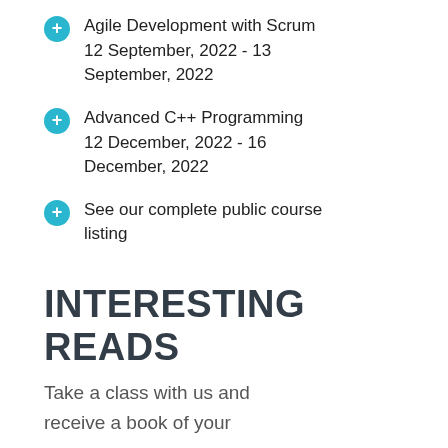Agile Development with Scrum 12 September, 2022 - 13 September, 2022
Advanced C++ Programming 12 December, 2022 - 16 December, 2022
See our complete public course listing
INTERESTING READS
Take a class with us and receive a book of your